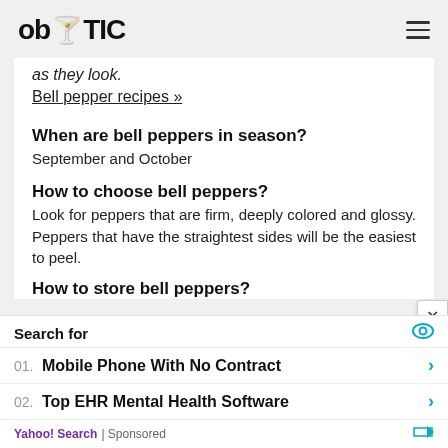ob TIC
as they look.
Bell pepper recipes »
When are bell peppers in season?
September and October
How to choose bell peppers?
Look for peppers that are firm, deeply colored and glossy. Peppers that have the straightest sides will be the easiest to peel.
How to store bell peppers?
Search for
01. Mobile Phone With No Contract
02. Top EHR Mental Health Software
Yahoo! Search | Sponsored